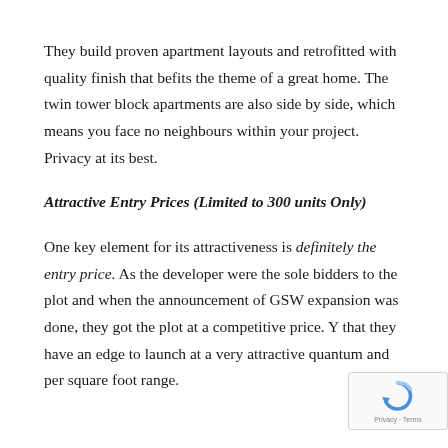They build proven apartment layouts and retrofitted with quality finish that befits the theme of a great home. The twin tower block apartments are also side by side, which means you face no neighbours within your project. Privacy at its best.
Attractive Entry Prices (Limited to 300 units Only)
One key element for its attractiveness is definitely the entry price. As the developer were the sole bidders to the plot and when the announcement of GSW expansion was done, they got the plot at a competitive price. Y that they have an edge to launch at a very attractive quantum and per square foot range.